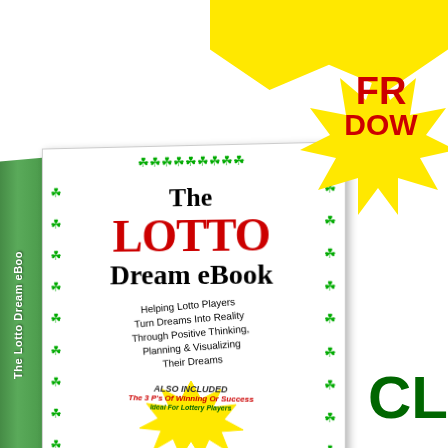[Figure (illustration): Promotional image of 'The Lotto Dream eBook' shown as a 3D book with green shamrock border on cover, red LOTTO title, subtitle about helping lotto players, a yellow starburst with 'Also Included - The 3 P's Of Winning Or Success - Ideal For Lottery Players', and a large yellow starburst partially visible at top right showing 'FREE DOWNLOAD' in red. Bottom right shows partial text 'CL' in green.]